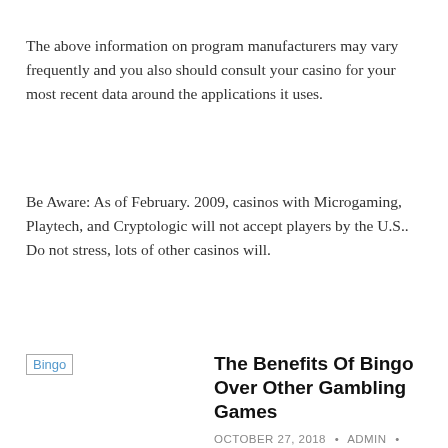The above information on program manufacturers may vary frequently and you also should consult your casino for your most recent data around the applications it uses.
Be Aware: As of February. 2009, casinos with Microgaming, Playtech, and Cryptologic will not accept players by the U.S.. Do not stress, lots of other casinos will.
[Figure (other): Broken image placeholder labeled 'Bingo']
The Benefits Of Bingo Over Other Gambling Games
OCTOBER 27, 2018 • ADMIN • UNCATEGORIZED